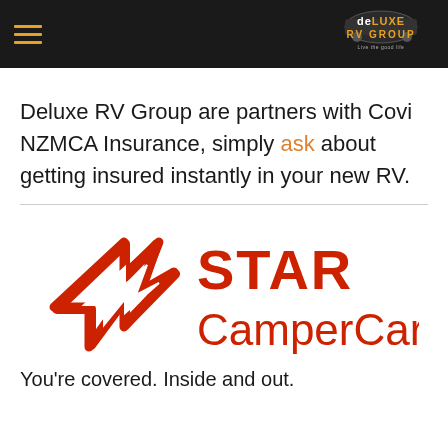Deluxe RV Group (header with hamburger menu and logo)
Deluxe RV Group are partners with Covi NZMCA Insurance, simply ask about getting insured instantly in your new RV.
[Figure (logo): Star CamperCare logo — a red stylized star/arrow icon on the left, with bold red text 'STAR' on top and 'CamperCare' below in lighter red weight]
You're covered. Inside and out.